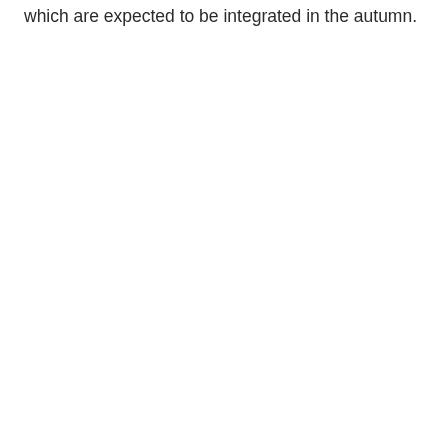which are expected to be integrated in the autumn.